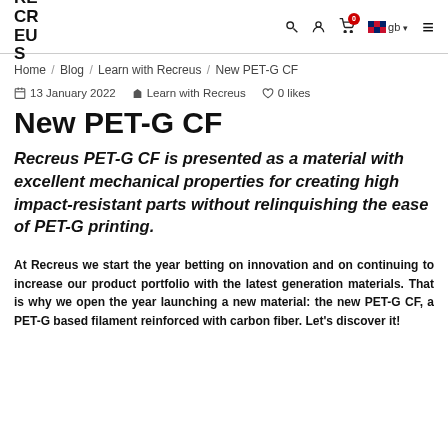RECREUS | search | account | cart (0) | gb | menu
Home / Blog / Learn with Recreus / New PET-G CF
13 January 2022   Learn with Recreus   0 likes
New PET-G CF
Recreus PET-G CF is presented as a material with excellent mechanical properties for creating high impact-resistant parts without relinquishing the ease of PET-G printing.
At Recreus we start the year betting on innovation and on continuing to increase our product portfolio with the latest generation materials. That is why we open the year launching a new material: the new PET-G CF, a PET-G based filament reinforced with carbon fiber. Let's discover it!